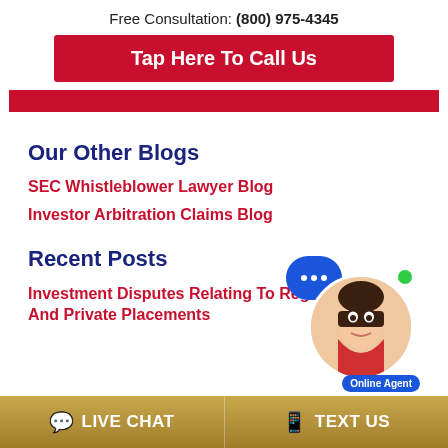Free Consultation: (800) 975-4345
Tap Here To Call Us
Our Other Blogs
SEC Whistleblower Lawyer Blog
Investor Arbitration Claims Blog
Recent Posts
Investment Disputes Relating To Regulatory And Private Placements
LIVE CHAT
TEXT US